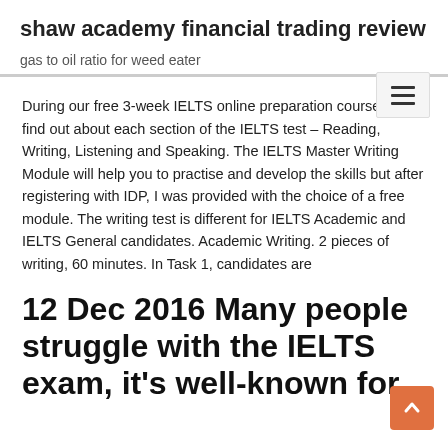shaw academy financial trading review
gas to oil ratio for weed eater
During our free 3-week IELTS online preparation courses, you find out about each section of the IELTS test – Reading, Writing, Listening and Speaking. The IELTS Master Writing Module will help you to practise and develop the skills but after registering with IDP, I was provided with the choice of a free module. The writing test is different for IELTS Academic and IELTS General candidates. Academic Writing. 2 pieces of writing, 60 minutes. In Task 1, candidates are
12 Dec 2016 Many people struggle with the IELTS exam, it's well-known for